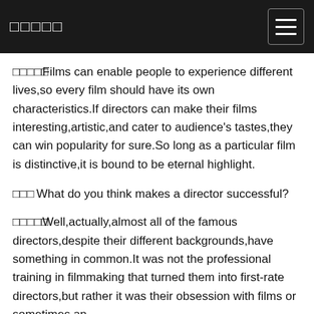□□□□□
□□□□□Films can enable people to experience different lives,so every film should have its own characteristics.If directors can make their films interesting,artistic,and cater to audience's tastes,they can win popularity for sure.So long as a particular film is distinctive,it is bound to be eternal highlight.
□□□What do you think makes a director successful?
□□□□□Well,actually,almost all of the famous directors,despite their different backgrounds,have something in common.It was not the professional training in filmmaking that turned them into first-rate directors,but rather it was their obsession with films or sometimes an